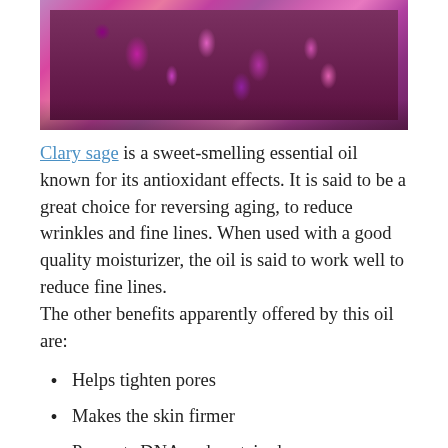[Figure (photo): Pink and purple flowering plants (clary sage) with a bottle of essential oil on a wooden surface]
Clary sage is a sweet-smelling essential oil known for its antioxidant effects. It is said to be a great choice for reversing aging, to reduce wrinkles and fine lines. When used with a good quality moisturizer, the oil is said to work well to reduce fine lines.
The other benefits apparently offered by this oil are:
Helps tighten pores
Makes the skin firmer
Prevents DNA and protein damage